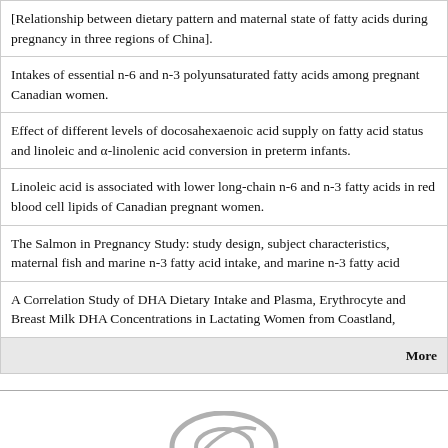[Relationship between dietary pattern and maternal state of fatty acids during pregnancy in three regions of China].
Intakes of essential n-6 and n-3 polyunsaturated fatty acids among pregnant Canadian women.
Effect of different levels of docosahexaenoic acid supply on fatty acid status and linoleic and α-linolenic acid conversion in preterm infants.
Linoleic acid is associated with lower long-chain n-6 and n-3 fatty acids in red blood cell lipids of Canadian pregnant women.
The Salmon in Pregnancy Study: study design, subject characteristics, maternal fish and marine n-3 fatty acid intake, and marine n-3 fatty acid
A Correlation Study of DHA Dietary Intake and Plasma, Erythrocyte and Breast Milk DHA Concentrations in Lactating Women from Coastland,
[Figure (logo): Unbound Medicine logo — stylized oval/ring shape in gray above the text 'unbound' in italic gray and 'MEDICINE' in small caps gray letter-spaced text below.]